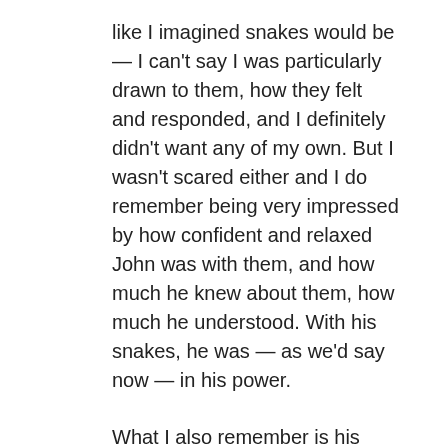like I imagined snakes would be — I can't say I was particularly drawn to them, how they felt and responded, and I definitely didn't want any of my own. But I wasn't scared either and I do remember being very impressed by how confident and relaxed John was with them, and how much he knew about them, how much he understood. With his snakes, he was — as we'd say now — in his power.
What I also remember is his mother's extraordinary hospitality: she was clearly enormously relieved that her son had finally made a friend at his new school and she went out of her way to make me feel welcome and special.